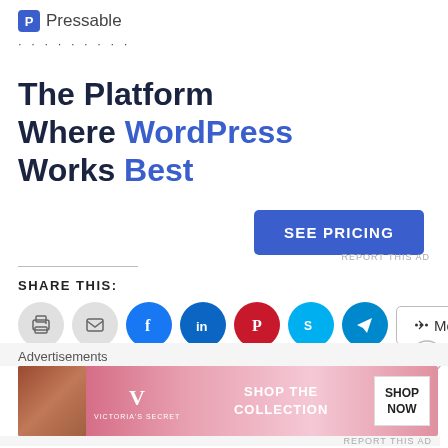[Figure (logo): Pressable logo with icon and name, followed by dotted separator line]
The Platform Where WordPress Works Best
[Figure (other): SEE PRICING button (blue, uppercase)]
REPORT THIS AD
SHARE THIS:
[Figure (infographic): Social share buttons: print, email, Facebook, LinkedIn, Pinterest, Skype, Telegram, More]
Advertisements
[Figure (photo): Victoria's Secret advertisement banner with model, VS logo, SHOP THE COLLECTION text, and SHOP NOW button]